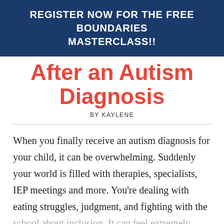REGISTER NOW FOR THE FREE BOUNDARIES MASTERCLASS!!
After an Autism Diagnosis
BY KAYLENE
When you finally receive an autism diagnosis for your child, it can be overwhelming. Suddenly your world is filled with therapies, specialists, IEP meetings and more. You're dealing with eating struggles, judgment, and fighting with the school about inclusion. It can feel extremely